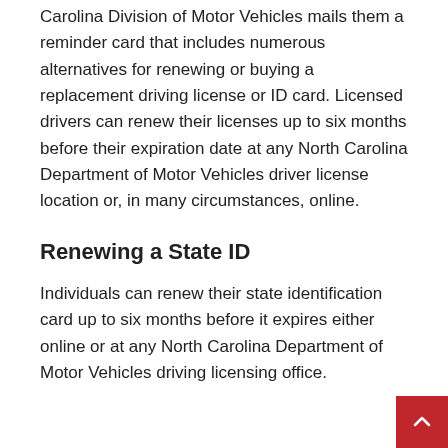Carolina Division of Motor Vehicles mails them a reminder card that includes numerous alternatives for renewing or buying a replacement driving license or ID card. Licensed drivers can renew their licenses up to six months before their expiration date at any North Carolina Department of Motor Vehicles driver license location or, in many circumstances, online.
Renewing a State ID
Individuals can renew their state identification card up to six months before it expires either online or at any North Carolina Department of Motor Vehicles driving licensing office.